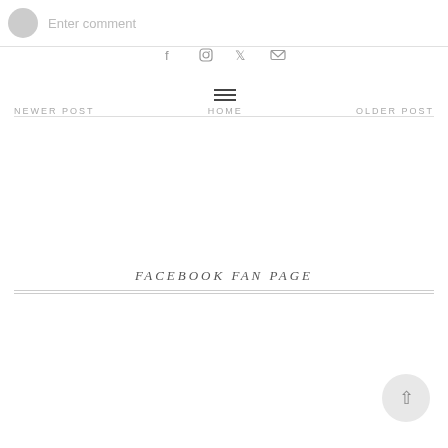[Figure (screenshot): Comment input bar with avatar placeholder and 'Enter comment' placeholder text]
[Figure (screenshot): Social media icons row: Facebook, Instagram, Twitter, Email]
NEWER POST
[Figure (screenshot): Hamburger menu icon above HOME label]
HOME
OLDER POST
FACEBOOK FAN PAGE
[Figure (screenshot): Back to top arrow button (chevron up) in bottom right]